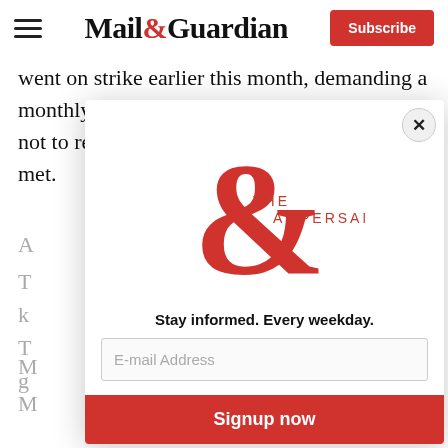Mail&Guardian — Subscribe
went on strike earlier this month, demanding a monthly salary of R12 500. They have vowed not to return to work until their demand is met.
[Figure (screenshot): Modal popup with 'THE AMPERSAND' logo (red ampersand symbol), tagline 'Stay informed. Every weekday.', email address input field, and a red 'Signup now' button. A close (X) button is in the top right corner.]